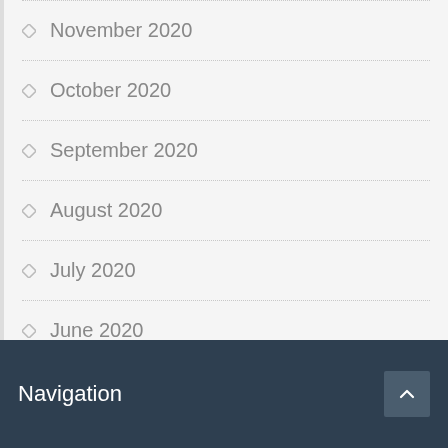November 2020
October 2020
September 2020
August 2020
July 2020
June 2020
Navigation